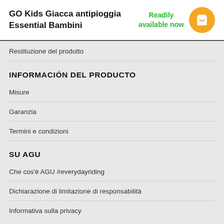GO Kids Giacca antipioggia Essential Bambini
Readily available now
Restituzione del prodotto
INFORMACIÓN DEL PRODUCTO
Misure
Garanzia
Termini e condizioni
SU AGU
Che cos'è AGU #everydayriding
Dichiarazione di limitazione di responsabilità
Informativa sulla privacy